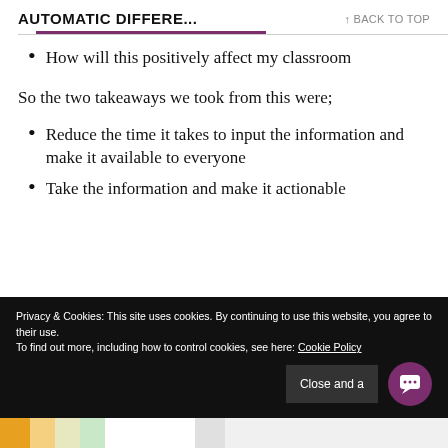AUTOMATIC DIFFERE... ↑ BACK TO TOP
How will this positively affect my classroom
So the two takeaways we took from this were;
Reduce the time it takes to input the information and make it available to everyone
Take the information and make it actionable
Privacy & Cookies: This site uses cookies. By continuing to use this website, you agree to their use. To find out more, including how to control cookies, see here: Cookie Policy Close and a